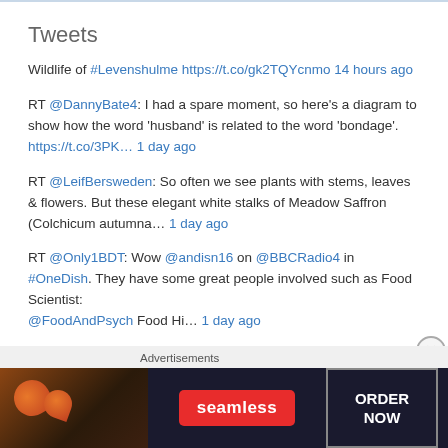Tweets
Wildlife of #Levenshulme https://t.co/gk2TQYcnmo 14 hours ago
RT @DannyBate4: I had a spare moment, so here's a diagram to show how the word 'husband' is related to the word 'bondage'. https://t.co/3PK… 1 day ago
RT @LeifBersweden: So often we see plants with stems, leaves & flowers. But these elegant white stalks of Meadow Saffron (Colchicum autumna… 1 day ago
RT @Only1BDT: Wow @andisn16 on @BBCRadio4 in #OneDish. They have some great people involved such as Food Scientist: @FoodAndPsych Food Hi… 1 day ago
ICYMI: episode 3 of season 4 of The British Food History Podcast is
Advertisements
[Figure (other): Seamless food delivery advertisement banner with pizza image, seamless logo, and ORDER NOW button]